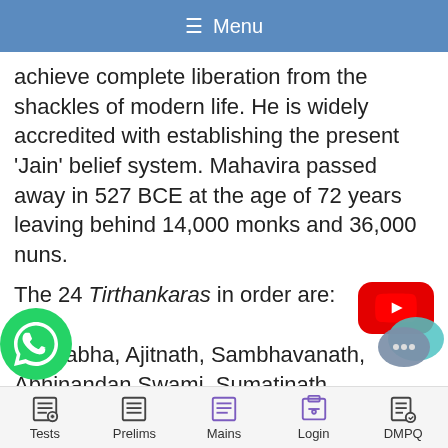≡ Menu
achieve complete liberation from the shackles of modern life. He is widely accredited with establishing the present 'Jain' belief system. Mahavira passed away in 527 BCE at the age of 72 years leaving behind 14,000 monks and 36,000 nuns.
The 24 Tirthankaras in order are:
[Figure (logo): YouTube play button icon in red]
Rushabha, Ajitnath, Sambhavanath, Abhinandan Swami, Sumatinath, Padmaprabhu, Suparshvanath, Chandraprabhu, Pushpadanta, Sheetalnath, Shreyansnath, Vasupujya Swami
[Figure (illustration): WhatsApp icon (green phone in circle)]
[Figure (illustration): Chat bubble icon with three dots]
Tests  Prelims  Mains  Login  DMPQ